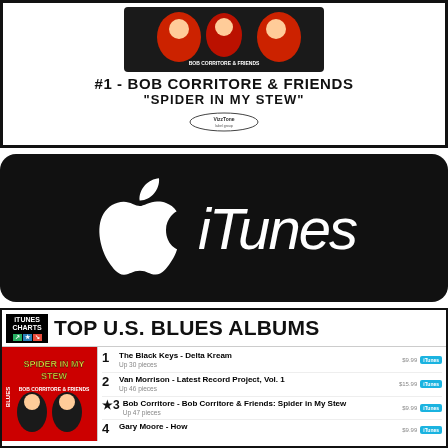[Figure (illustration): Album promotional graphic: #1 - BOB CORRITORE & FRIENDS "SPIDER IN MY STEW" with album artwork and VizzTone label logo]
[Figure (logo): Apple iTunes logo on black rounded rectangle background showing Apple logo and 'iTunes' text in italic white]
[Figure (screenshot): iTunes Charts: TOP U.S. BLUES ALBUMS chart listing. Album cover of Spider in My Stew by Bob Corritore & Friends shown. Rankings: 1. The Black Keys - Delta Kream, 2. Van Morrison - Latest Record Project Vol. 1, 3 (starred). Bob Corritore - Bob Corritore & Friends: Spider in My Stew, 4. Gary Moore - How]